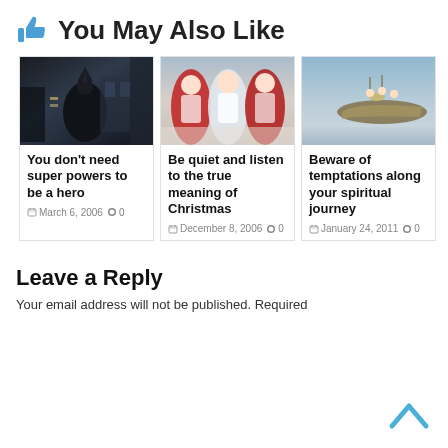You May Also Like
[Figure (other): Dark Batman-themed movie scene, dimly lit interior]
You don't need super powers to be a hero
March 6, 2006   0
[Figure (other): Women in red and white Christmas outfits in snowy scene]
Be quiet and listen to the true meaning of Christmas
December 8, 2006   0
[Figure (other): People rowing a boat in icy/snowy waters]
Beware of temptations along your spiritual journey
January 24, 2011   0
Leave a Reply
Your email address will not be published. Required